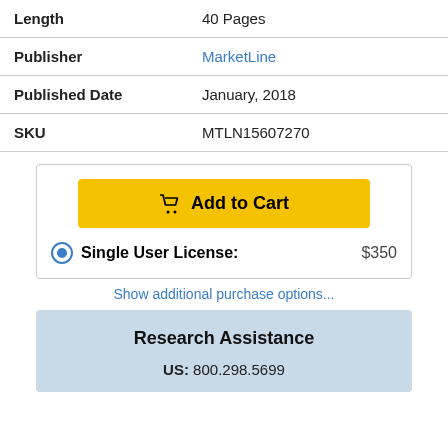| Length | 40 Pages |
| Publisher | MarketLine |
| Published Date | January, 2018 |
| SKU | MTLN15607270 |
[Figure (other): Add to Cart button with shopping cart icon, yellow background]
Single User License: $350
Show additional purchase options...
Research Assistance
US: 800.298.5699